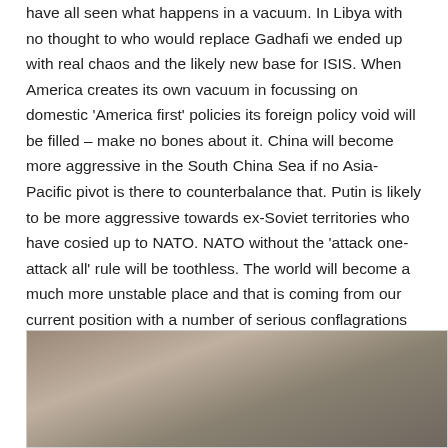have all seen what happens in a vacuum. In Libya with no thought to who would replace Gadhafi we ended up with real chaos and the likely new base for ISIS. When America creates its own vacuum in focussing on domestic 'America first' policies its foreign policy void will be filled – make no bones about it. China will become more aggressive in the South China Sea if no Asia-Pacific pivot is there to counterbalance that. Putin is likely to be more aggressive towards ex-Soviet territories who have cosied up to NATO. NATO without the 'attack one-attack all' rule will be toothless. The world will become a much more unstable place and that is coming from our current position with a number of serious conflagrations including Syria and Yemen which aren't that stable.
[Figure (photo): A photograph showing a woman wearing a white headscarf in what appears to be a factory or workshop setting with machinery and lighting visible in the background.]